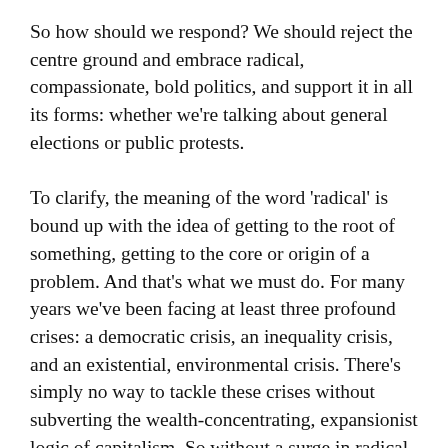So how should we respond? We should reject the centre ground and embrace radical, compassionate, bold politics, and support it in all its forms: whether we're talking about general elections or public protests.
To clarify, the meaning of the word 'radical' is bound up with the idea of getting to the root of something, getting to the core or origin of a problem. And that's what we must do. For many years we've been facing at least three profound crises: a democratic crisis, an inequality crisis, and an existential, environmental crisis. There's simply no way to tackle these crises without subverting the wealth-concentrating, expansionist logic of capitalism. So without a surge in radical politics, these crises will only deepen. After all,